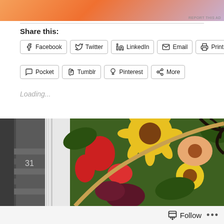[Figure (photo): Advertisement banner with orange/pink gradient and decorative elements]
REPORT THIS AD
Share this:
Facebook  Twitter  LinkedIn  Email  Print
Pocket  Tumblr  Pinterest  More
Loading...
[Figure (photo): Flower wreath with sunflowers, red flowers, and green foliage on a textured white background near a door]
Follow